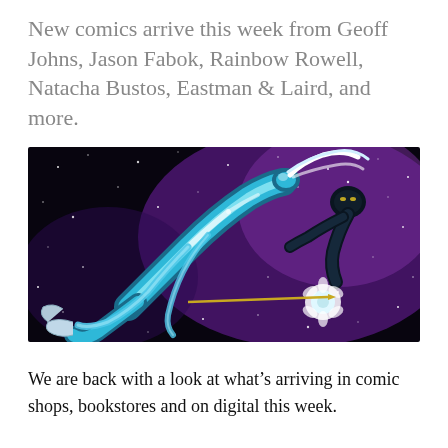New comics arrive this week from Geoff Johns, Jason Fabok, Rainbow Rowell, Natacha Bustos, Eastman & Laird, and more.
[Figure (illustration): Comic book art showing a dynamic figure in blue and white costume against a dark purple starry space background, with flowing ribbons/cloth and another dark figure in the upper right.]
We are back with a look at what's arriving in comic shops, bookstores and on digital this week.